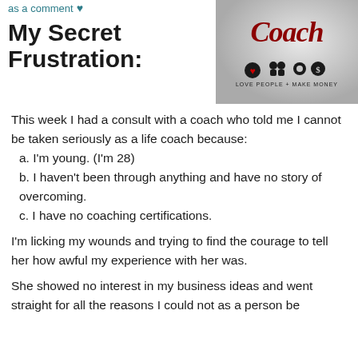as a comment ♥
My Secret Frustration:
[Figure (illustration): Book or blog cover image with text 'Coach' in red cursive script with icons below including a heart, people figures, gear, and dollar sign, with tagline 'Love People + Make Money']
This week I had a consult with a coach who told me I cannot be taken seriously as a life coach because:
a. I'm young. (I'm 28)
b. I haven't been through anything and have no story of overcoming.
c. I have no coaching certifications.
I'm licking my wounds and trying to find the courage to tell her how awful my experience with her was.
She showed no interest in my business ideas and went straight for all the reasons I could not as a person be